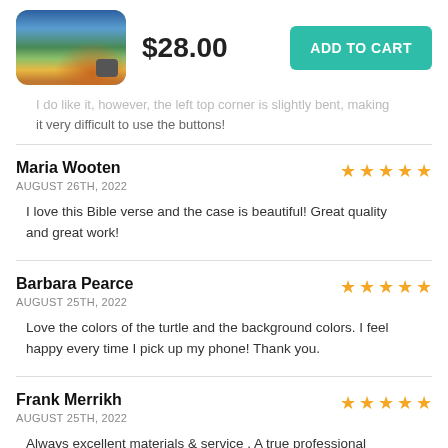[Figure (photo): Product photo of a phone case with mountain landscape design, price $28.00 and Add to Cart button]
...I do like it, however, the left top corner is slightly bent, making it very difficult to use the buttons!
Maria Wooten
AUGUST 26TH, 2022
★★★★★
I love this Bible verse and the case is beautiful! Great quality and great work!
Barbara Pearce
AUGUST 25TH, 2022
★★★★★
Love the colors of the turtle and the background colors. I feel happy every time I pick up my phone! Thank you.
Frank Merrikh
AUGUST 25TH, 2022
★★★★★
Always excellent materials & service . A true professional